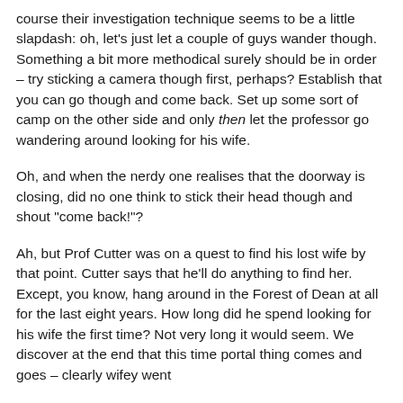course their investigation technique seems to be a little slapdash: oh, let's just let a couple of guys wander though. Something a bit more methodical surely should be in order – try sticking a camera though first, perhaps? Establish that you can go though and come back. Set up some sort of camp on the other side and only then let the professor go wandering around looking for his wife.
Oh, and when the nerdy one realises that the doorway is closing, did no one think to stick their head though and shout "come back!"?
Ah, but Prof Cutter was on a quest to find his lost wife by that point. Cutter says that he'll do anything to find her. Except, you know, hang around in the Forest of Dean at all for the last eight years. How long did he spend looking for his wife the first time? Not very long it would seem. We discover at the end that this time portal thing comes and goes – clearly wifey went